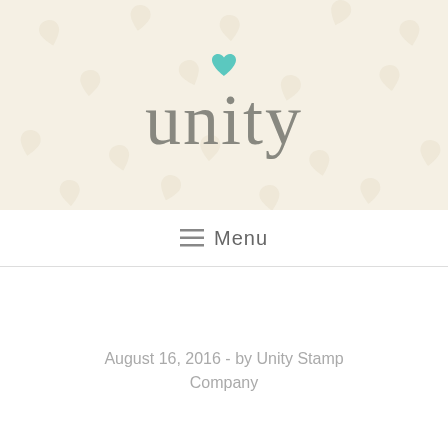[Figure (logo): Unity Stamp Company logo with teal heart above the word 'unity' in grey serif font, on a cream/beige background with faint heart watermark pattern]
≡  Menu
August 16, 2016 - by Unity Stamp Company
Pick Of The Week